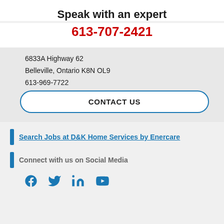Speak with an expert
613-707-2421
6833A Highway 62
Belleville, Ontario K8N OL9
613-969-7722
CONTACT US
Search Jobs at D&K Home Services by Enercare
Connect with us on Social Media
[Figure (infographic): Social media icons: Facebook, Twitter, LinkedIn, YouTube]